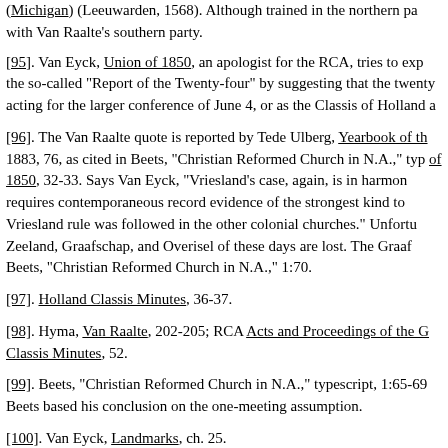(Michigan) (Leeuwarden, 1568). Although trained in the northern pa... with Van Raalte's southern party.
[95]. Van Eyck, Union of 1850, an apologist for the RCA, tries to exp... the so-called "Report of the Twenty-four" by suggesting that the twenty... acting for the larger conference of June 4, or as the Classis of Holland a...
[96]. The Van Raalte quote is reported by Tede Ulberg, Yearbook of th... 1883, 76, as cited in Beets, "Christian Reformed Church in N.A.," ty... of 1850, 32-33. Says Van Eyck, "Vriesland's case, again, is in harmon... requires contemporaneous record evidence of the strongest kind to... Vriesland rule was followed in the other colonial churches." Unfortu... Zeeland, Graafschap, and Overisel of these days are lost. The Graaf... Beets, "Christian Reformed Church in N.A.," 1:70.
[97]. Holland Classis Minutes, 36-37.
[98]. Hyma, Van Raalte, 202-205; RCA Acts and Proceedings of the G... Classis Minutes, 52.
[99]. Beets, "Christian Reformed Church in N.A.," typescript, 1:65-69... Beets based his conclusion on the one-meeting assumption.
[100]. Van Eyck, Landmarks, ch. 25.
[101]. Smit affiliated his congregation with the Associate Reformed de... Presbyterian in Michigan (Annex to Van Raalte, 1845); Dolf Biographical...